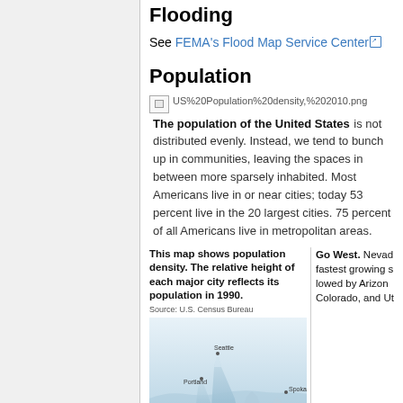Flooding
See FEMA's Flood Map Service Center
Population
[Figure (other): Broken image placeholder for US Population density 2010 map image. Filename: US%20Population%20density,%202010.png]
The population of the United States is not distributed evenly. Instead, we tend to bunch up in communities, leaving the spaces in between more sparsely inhabited. Most Americans live in or near cities; today 53 percent live in the 20 largest cities. 75 percent of all Americans live in metropolitan areas.
This map shows population density. The relative height of each major city reflects its population in 1990. Source: U.S. Census Bureau
[Figure (map): 3D population density map of the western United States showing major cities including Seattle, Portland, and Spokane as raised peaks. The map is rendered in blue-grey tones.]
Go West. Nevada is the fastest growing state, followed by Arizona, Idaho, Colorado, and Utah.